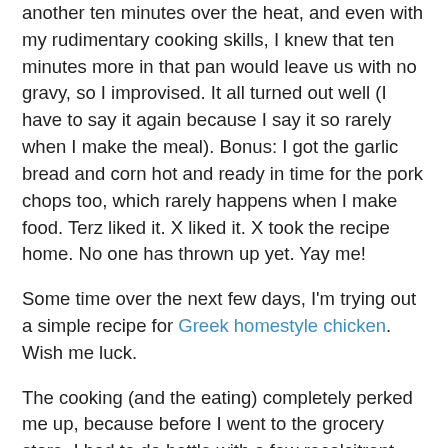another ten minutes over the heat, and even with my rudimentary cooking skills, I knew that ten minutes more in that pan would leave us with no gravy, so I improvised. It all turned out well (I have to say it again because I say it so rarely when I make the meal). Bonus: I got the garlic bread and corn hot and ready in time for the pork chops too, which rarely happens when I make food. Terz liked it. X liked it. X took the recipe home. No one has thrown up yet. Yay me!
Some time over the next few days, I'm trying out a simple recipe for Greek homestyle chicken. Wish me luck.
The cooking (and the eating) completely perked me up, because before I went to the grocery store, I had to do battle with a few recalcitrant cockroaches. *sigh* That always bums me out. I love everything about our apartment except the fact that we cannot get rid of the roaches. They just keep crawling in from drain pipes and under the door and so forth. Bah. Anyone got a foolproof solution? One of my students says it's just part and parcel of HDB living --- even if you keep a clean apartment, there's always the dustbin chute and other little holes in the wall that they come from. Double-bah.